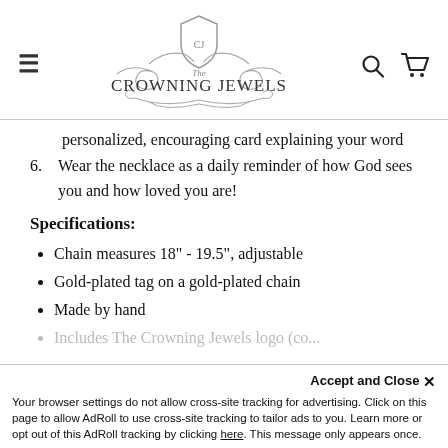The Crowning Jewels — navigation header with logo, hamburger menu, search and cart icons
personalized, encouraging card explaining your word
6. Wear the necklace as a daily reminder of how God sees you and how loved you are!
Specifications:
Chain measures 18" - 19.5", adjustable
Gold-plated tag on a gold-plated chain
Made by hand
Includes The Crowning Jewels logo (faded/obscured)
Accept and Close ×
Your browser settings do not allow cross-site tracking for advertising. Click on this page to allow AdRoll to use cross-site tracking to tailor ads to you. Learn more or opt out of this AdRoll tracking by clicking here. This message only appears once.